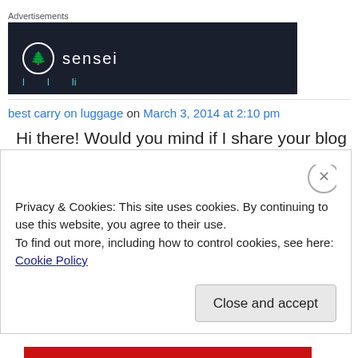Advertisements
[Figure (illustration): Dark navy advertisement banner for 'sensei' showing a logo with a tree inside a circle followed by the word 'sensei' in white text, with teal decorative elements at the bottom]
best carry on luggage on March 3, 2014 at 2:10 pm
Hi there! Would you mind if I share your blog with my twitter group?
Privacy & Cookies: This site uses cookies. By continuing to use this website, you agree to their use.
To find out more, including how to control cookies, see here: Cookie Policy
Close and accept